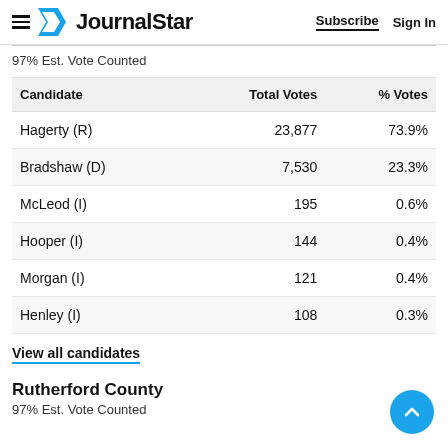JournalStar | Subscribe | Sign In
97% Est. Vote Counted
| Candidate | Total Votes | % Votes |
| --- | --- | --- |
| Hagerty (R) | 23,877 | 73.9% |
| Bradshaw (D) | 7,530 | 23.3% |
| McLeod (I) | 195 | 0.6% |
| Hooper (I) | 144 | 0.4% |
| Morgan (I) | 121 | 0.4% |
| Henley (I) | 108 | 0.3% |
View all candidates
Rutherford County
97% Est. Vote Counted